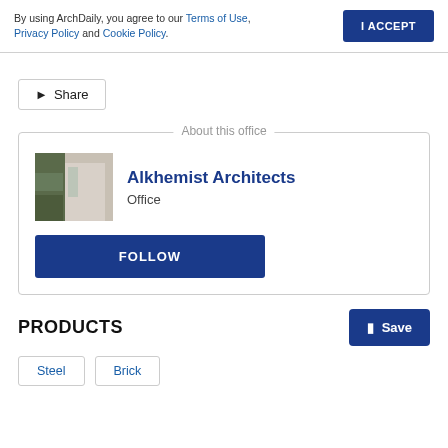By using ArchDaily, you agree to our Terms of Use, Privacy Policy and Cookie Policy.
I ACCEPT
Share
About this office
Alkhemist Architects
Office
FOLLOW
PRODUCTS
Save
Steel
Brick